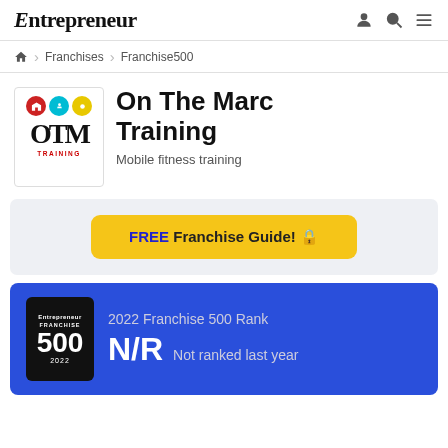Entrepreneur
Franchises > Franchise500
On The Marc Training
Mobile fitness training
FREE Franchise Guide!
2022 Franchise 500 Rank
N/R  Not ranked last year